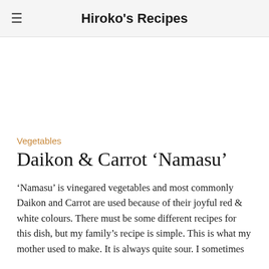Hiroko's Recipes
[Figure (photo): Image area (blank/white placeholder) for a recipe photo of Daikon & Carrot 'Namasu']
Vegetables
Daikon & Carrot ‘Namasu’
‘Namasu’ is vinegared vegetables and most commonly Daikon and Carrot are used because of their joyful red & white colours. There must be some different recipes for this dish, but my family’s recipe is simple. This is what my mother used to make. It is always quite sour. I sometimes